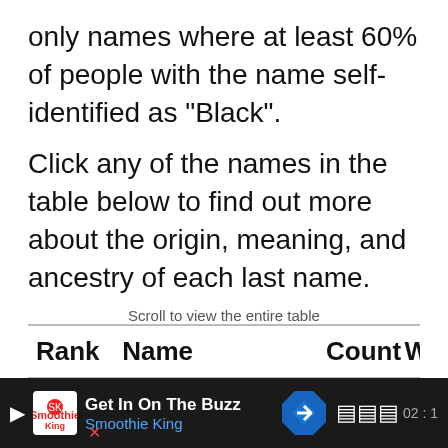only names where at least 60% of people with the name self-identified as "Black".
Click any of the names in the table below to find out more about the origin, meaning, and ancestry of each last name.
Scroll to view the entire table
| Rank | Name | Count | W |
| --- | --- | --- | --- |
| 2363 | DAWKINS | 15,431 | 33 |
| 2497 | DIGGS | 14,467 | 24 |
| 4640 | DRAYTON | 7,648 | 15 |
[Figure (other): Advertisement bar at bottom: Smoothie King 'Get In On The Buzz' ad with play button, logo, navigation icon, and audio waveform icon on dark background.]